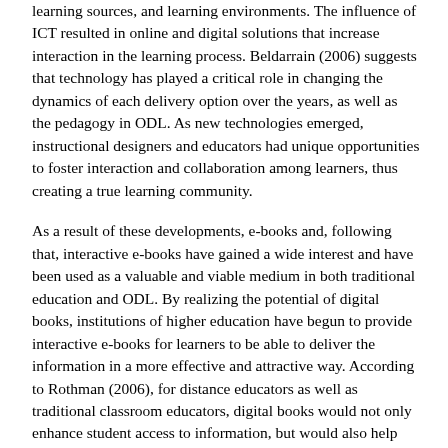learning sources, and learning environments. The influence of ICT resulted in online and digital solutions that increase interaction in the learning process. Beldarrain (2006) suggests that technology has played a critical role in changing the dynamics of each delivery option over the years, as well as the pedagogy in ODL. As new technologies emerged, instructional designers and educators had unique opportunities to foster interaction and collaboration among learners, thus creating a true learning community.
As a result of these developments, e-books and, following that, interactive e-books have gained a wide interest and have been used as a valuable and viable medium in both traditional education and ODL. By realizing the potential of digital books, institutions of higher education have begun to provide interactive e-books for learners to be able to deliver the information in a more effective and attractive way. According to Rothman (2006), for distance educators as well as traditional classroom educators, digital books would not only enhance student access to information, but would also help revolutionize the processes of reading, analyzing, and researching.
As a response to current developments in the e-book and interactive e-book landscape, interactive e-books are defined and their pros and cons are explained in this study. Following that, interactivity in interactive e-books is discussed and finally